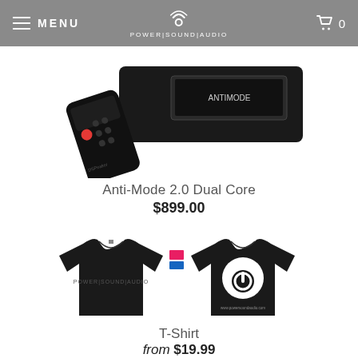MENU | POWER|SOUND|AUDIO | 0
[Figure (photo): Partial view of the Anti-Mode 2.0 Dual Core audio processor device with a remote control, shown from above on a white background.]
Anti-Mode 2.0 Dual Core
$899.00
[Figure (photo): Two black T-shirts shown front and back. Front shows 'POWER|SOUND|AUDIO' text. Back shows the Power Sound Audio logo (circular emblem with wifi-like signal).]
T-Shirt
from $19.99